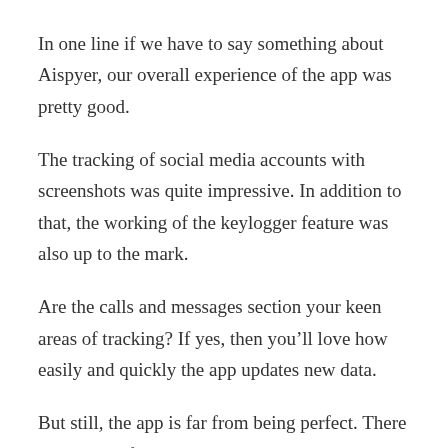In one line if we have to say something about Aispyer, our overall experience of the app was pretty good.
The tracking of social media accounts with screenshots was quite impressive. In addition to that, the working of the keylogger feature was also up to the mark.
Are the calls and messages section your keen areas of tracking? If yes, then you’ll love how easily and quickly the app updates new data.
But still, the app is far from being perfect. There are plenty of areas where the app needs improvement. If keeping a track of web history is highly important for you, then you might not like Aispyer.